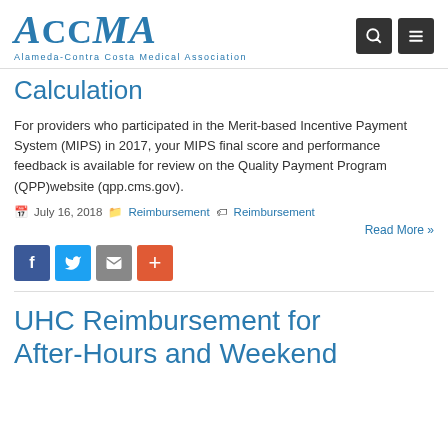ACCMA — Alameda-Contra Costa Medical Association
Calculation
For providers who participated in the Merit-based Incentive Payment System (MIPS) in 2017, your MIPS final score and performance feedback is available for review on the Quality Payment Program (QPP)website (qpp.cms.gov).
July 16, 2018   Reimbursement   Reimbursement
Read More »
UHC Reimbursement for After-Hours and Weekend